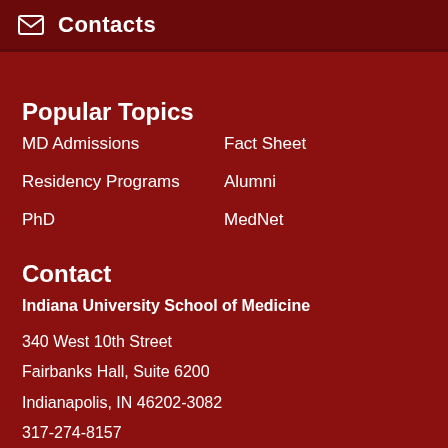Contacts
Popular Topics
MD Admissions
Fact Sheet
Residency Programs
Alumni
PhD
MedNet
Contact
Indiana University School of Medicine
340 West 10th Street
Fairbanks Hall, Suite 6200
Indianapolis, IN 46202-3082
317-274-8157